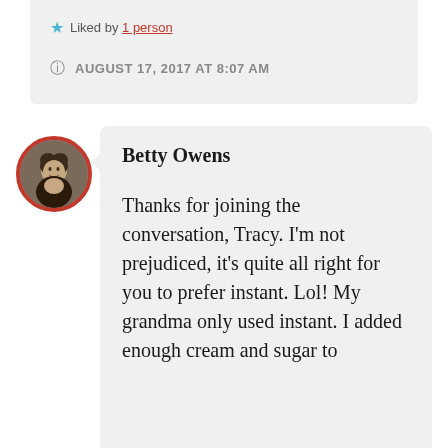★ Liked by 1 person
AUGUST 17, 2017 AT 8:07 AM
[Figure (photo): Circular avatar photo of Betty Owens with red border, showing a woman with dark hair smiling]
Betty Owens
Thanks for joining the conversation, Tracy. I'm not prejudiced, it's quite all right for you to prefer instant. Lol! My grandma only used instant. I added enough cream and sugar to